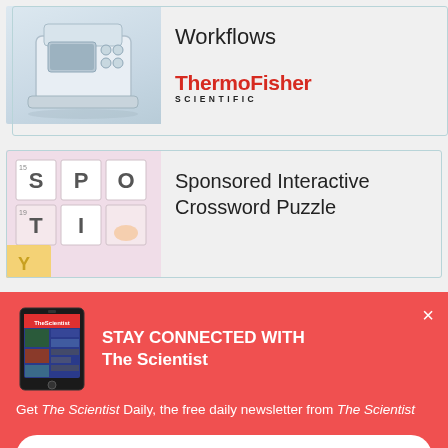[Figure (screenshot): Lab instrument (centrifuge/shaker) on white/gray background]
Workflows
[Figure (logo): ThermoFisher Scientific logo in red and black]
[Figure (photo): Crossword puzzle tiles close-up photo]
Sponsored Interactive Crossword Puzzle
[Figure (screenshot): Tablet showing The Scientist Daily app]
STAY CONNECTED WITH The Scientist
Get The Scientist Daily, the free daily newsletter from The Scientist
Sign up for our free newsletter